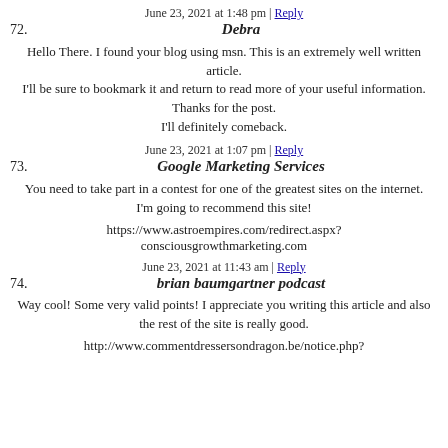June 23, 2021 at 1:48 pm | Reply
72. Debra
Hello There. I found your blog using msn. This is an extremely well written article. I'll be sure to bookmark it and return to read more of your useful information. Thanks for the post. I'll definitely comeback.
June 23, 2021 at 1:07 pm | Reply
73. Google Marketing Services
You need to take part in a contest for one of the greatest sites on the internet. I'm going to recommend this site!
https://www.astroempires.com/redirect.aspx?consciousgrowthmarketing.com
June 23, 2021 at 11:43 am | Reply
74. brian baumgartner podcast
Way cool! Some very valid points! I appreciate you writing this article and also the rest of the site is really good.
http://www.commentdressersondragon.be/notice.php?